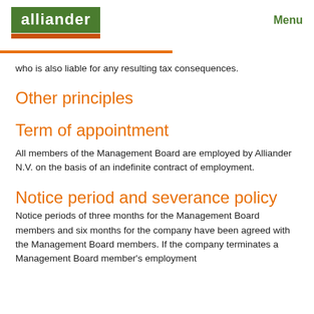alliander | Menu
who is also liable for any resulting tax consequences.
Other principles
Term of appointment
All members of the Management Board are employed by Alliander N.V. on the basis of an indefinite contract of employment.
Notice period and severance policy
Notice periods of three months for the Management Board members and six months for the company have been agreed with the Management Board members. If the company terminates a Management Board member's employment